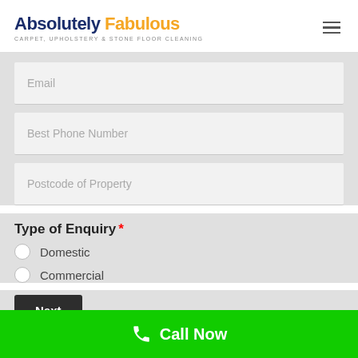Absolutely Fabulous — CARPET, UPHOLSTERY & STONE FLOOR CLEANING
Email
Best Phone Number
Postcode of Property
Type of Enquiry *
Domestic
Commercial
Next
Call Now